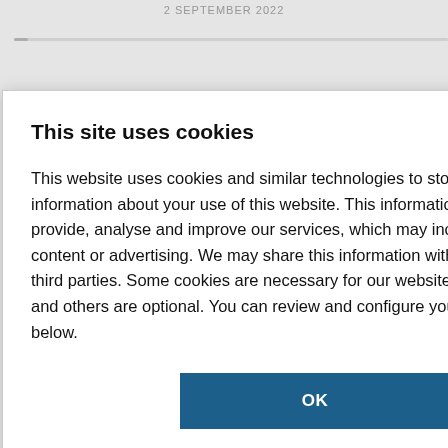2 SEPTEMBER 2022
ts found in the US
ederally-funded st be open
This site uses cookies
This website uses cookies and similar technologies to store and retrieve information about your use of this website. This information helps us to provide, analyse and improve our services, which may include personalised content or advertising. We may share this information with Google and other third parties. Some cookies are necessary for our website to work properly and others are optional. You can review and configure your cookie settings below.
OK
COOKIE SETTINGS